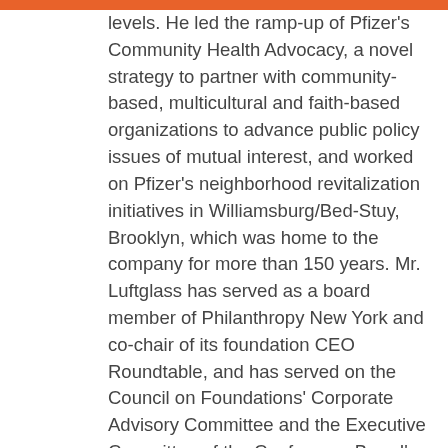levels. He led the ramp-up of Pfizer's Community Health Advocacy, a novel strategy to partner with community-based, multicultural and faith-based organizations to advance public policy issues of mutual interest, and worked on Pfizer's neighborhood revitalization initiatives in Williamsburg/Bed-Stuy, Brooklyn, which was home to the company for more than 150 years. Mr. Luftglass has served as a board member of Philanthropy New York and co-chair of its foundation CEO Roundtable, and has served on the Council on Foundations' Corporate Advisory Committee and the Executive Committee of the Conference Board's Contributions Council. He also serves as President of the board of the Center for Traditional Music and Dance, a New York City nonprofit that works to sustain the cultural heritage of urban immigrant communities. He joined Townspeople...